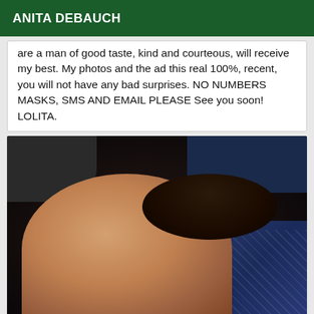ANITA DEBAUCH
are a man of good taste, kind and courteous, will receive my best. My photos and the ad this real 100%, recent, you will not have any bad surprises. NO NUMBERS MASKS, SMS AND EMAIL PLEASE See you soon! LOLITA.
[Figure (photo): Close-up photo of a person with dark hair lying down, shirtless, with blue patterned fabric visible in background]